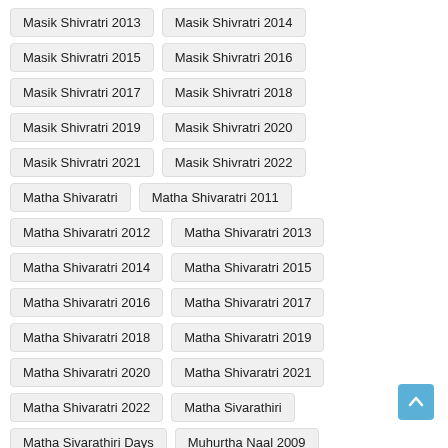Masik Shivratri 2013
Masik Shivratri 2014
Masik Shivratri 2015
Masik Shivratri 2016
Masik Shivratri 2017
Masik Shivratri 2018
Masik Shivratri 2019
Masik Shivratri 2020
Masik Shivratri 2021
Masik Shivratri 2022
Matha Shivaratri
Matha Shivaratri 2011
Matha Shivaratri 2012
Matha Shivaratri 2013
Matha Shivaratri 2014
Matha Shivaratri 2015
Matha Shivaratri 2016
Matha Shivaratri 2017
Matha Shivaratri 2018
Matha Shivaratri 2019
Matha Shivaratri 2020
Matha Shivaratri 2021
Matha Shivaratri 2022
Matha Sivarathiri
Matha Sivarathiri Days
Muhurtha Naal 2009
Muhurtha Naal 2010
Muhurtha Naal 2011
Muhurtha Naal 2012
Muhurtha Naal 2013